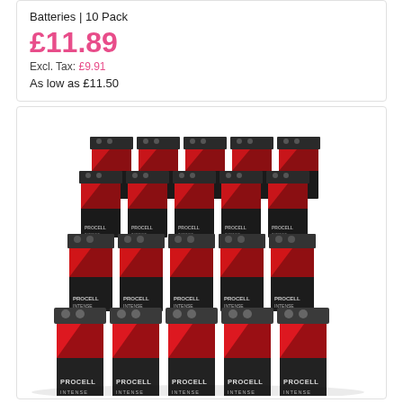Batteries | 10 Pack
£11.89
Excl. Tax: £9.91
As low as £11.50
[Figure (photo): Stack of Procell Intense 9V batteries, multiple rows arranged in a bulk pack of approximately 50 batteries, showing black and red branding with PROCELL INTENSE text.]